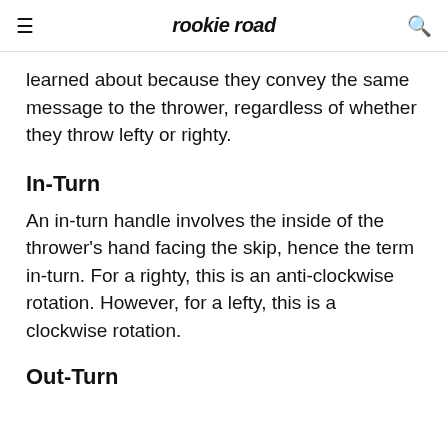rookie road
learned about because they convey the same message to the thrower, regardless of whether they throw lefty or righty.
In-Turn
An in-turn handle involves the inside of the thrower's hand facing the skip, hence the term in-turn. For a righty, this is an anti-clockwise rotation. However, for a lefty, this is a clockwise rotation.
Out-Turn